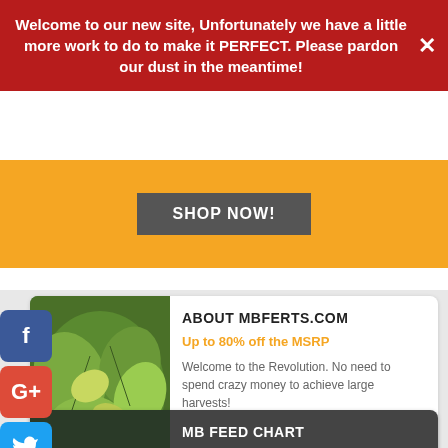Welcome to our new site, Unfortunately we have a little more work to do to make it PERFECT. Please pardon our dust in the meantime!
SHOP NOW!
[Figure (screenshot): Social media icons: Facebook, Google+, Twitter, Pinterest]
[Figure (photo): Green plant leaves close-up]
ABOUT MBFERTS.COM
Up to 80% off the MSRP
Welcome to the Revolution. No need to spend crazy money to achieve large harvests!
[Figure (photo): Green plants growing in pots]
MB FEED CHART
Growth Feed Chart
Our comprehesive information on All Phases of Growth FEED